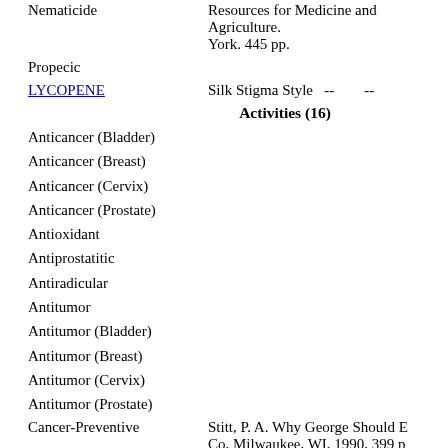Nematicide
Resources for Medicine and Agriculture. York. 445 pp.
Propecic
LYCOPENE   Silk Stigma Style   --   --
Activities (16)
Anticancer (Bladder)
Anticancer (Breast)
Anticancer (Cervix)
Anticancer (Prostate)
Antioxidant
Antiprostatitic
Antiradicular
Antitumor
Antitumor (Bladder)
Antitumor (Breast)
Antitumor (Cervix)
Antitumor (Prostate)
Cancer-Preventive
Stitt, P. A. Why George Should E... Co, Milwaukee, WI, 1990, 399 p...
Colorant
Hypocholesterolemic 60